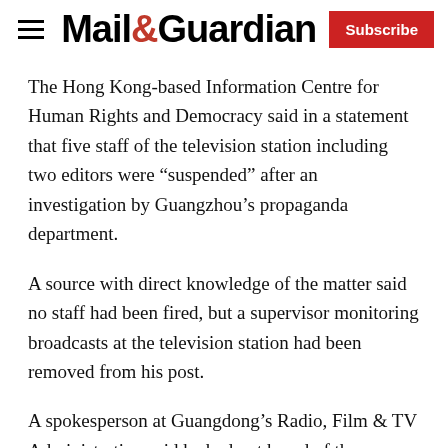Mail&Guardian | Subscribe
The Hong Kong-based Information Centre for Human Rights and Democracy said in a statement that five staff of the television station including two editors were “suspended” after an investigation by Guangzhou’s propaganda department.
A source with direct knowledge of the matter said no staff had been fired, but a supervisor monitoring broadcasts at the television station had been removed from his post.
A spokesperson at Guangdong’s Radio, Film & TV Administration said he had not heard of the incident.